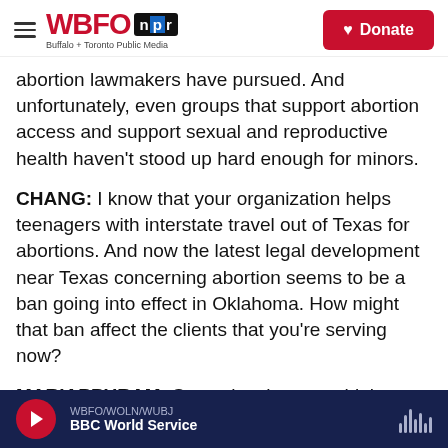WBFO NPR — Buffalo + Toronto Public Media | Donate
abortion lawmakers have pursued. And unfortunately, even groups that support abortion access and support sexual and reproductive health haven't stood up hard enough for minors.
CHANG: I know that your organization helps teenagers with interstate travel out of Texas for abortions. And now the latest legal development near Texas concerning abortion seems to be a ban going into effect in Oklahoma. How might that ban affect the clients that you're serving now?
MARIAPPURAM: So yeah, when you think about travel, a lot of people drive, and so Oklahoma was
WBFO/WOLN/WUBJ | BBC World Service